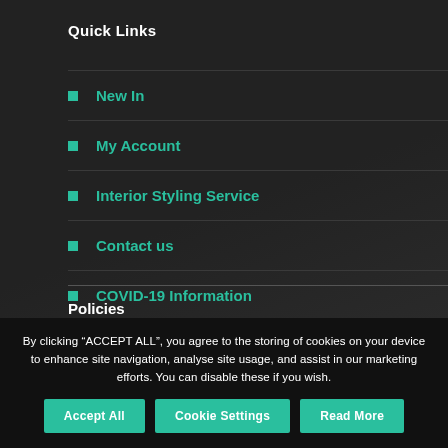Quick Links
New In
My Account
Interior Styling Service
Contact us
COVID-19 Information
Policies
By clicking “ACCEPT ALL”, you agree to the storing of cookies on your device to enhance site navigation, analyse site usage, and assist in our marketing efforts. You can disable these if you wish.
Accept All | Cookie Settings | Read More